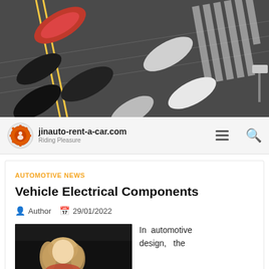[Figure (photo): Aerial view of cars on a road/parking lot, viewed from above, showing multiple vehicles including red, black, white and silver cars on a dark asphalt surface with road markings.]
jinauto-rent-a-car.com
Riding Pleasure
AUTOMOTIVE NEWS
Vehicle Electrical Components
Author  29/01/2022
[Figure (photo): Photo of a woman with blonde hair sitting in a car, partially visible through car window. Dark/black top portion visible.]
In automotive design, the